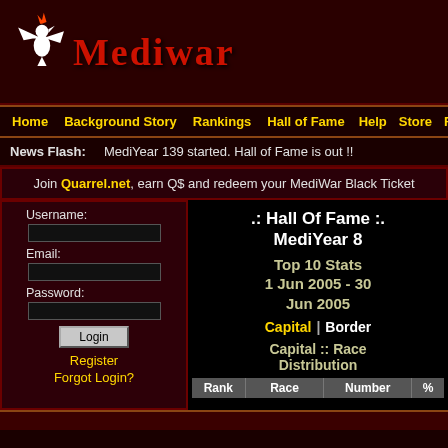[Figure (logo): Mediwar logo with winged creature and stylized red text 'Mediwar']
Home  Background Story  Rankings  Hall of Fame  Help  Store  Forum
News Flash:   MediYear 139 started. Hall of Fame is out !!
Join Quarrel.net, earn Q$ and redeem your MediWar Black Ticket
Username:
Email:
Password:
Login
Register
Forgot Login?
.: Hall Of Fame :. MediYear 8
Top 10 Stats
1 Jun 2005 - 30 Jun 2005
Capital | Border
Capital :: Race Distribution
| Rank | Race | Number | % |
| --- | --- | --- | --- |